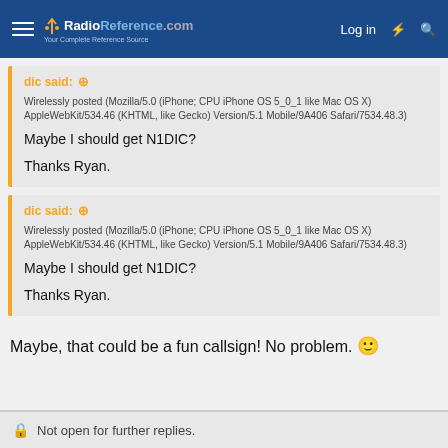RadioReference.com  Log in
dic said: ↑ Wirelessly posted (Mozilla/5.0 (iPhone; CPU iPhone OS 5_0_1 like Mac OS X) AppleWebKit/534.46 (KHTML, like Gecko) Version/5.1 Mobile/9A406 Safari/7534.48.3) Maybe I should get N1DIC? Thanks Ryan.
dic said: ↑ Wirelessly posted (Mozilla/5.0 (iPhone; CPU iPhone OS 5_0_1 like Mac OS X) AppleWebKit/534.46 (KHTML, like Gecko) Version/5.1 Mobile/9A406 Safari/7534.48.3) Maybe I should get N1DIC? Thanks Ryan.
Maybe, that could be a fun callsign! No problem. 🙂
🔒 Not open for further replies.